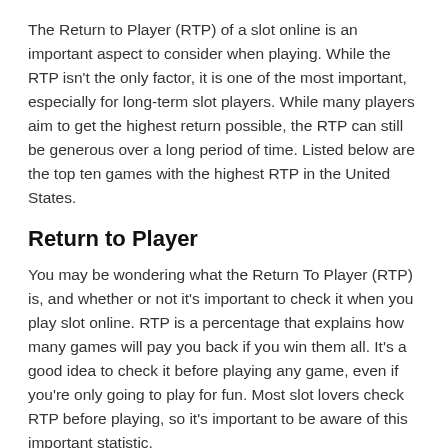The Return to Player (RTP) of a slot online is an important aspect to consider when playing. While the RTP isn't the only factor, it is one of the most important, especially for long-term slot players. While many players aim to get the highest return possible, the RTP can still be generous over a long period of time. Listed below are the top ten games with the highest RTP in the United States.
Return to Player
You may be wondering what the Return To Player (RTP) is, and whether or not it's important to check it when you play slot online. RTP is a percentage that explains how many games will pay you back if you win them all. It's a good idea to check it before playing any game, even if you're only going to play for fun. Most slot lovers check RTP before playing, so it's important to be aware of this important statistic.
Loose slots